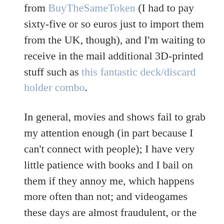from BuyTheSameToken (I had to pay sixty-five or so euros just to import them from the UK, though), and I'm waiting to receive in the mail additional 3D-printed stuff such as this fantastic deck/discard holder combo.
In general, movies and shows fail to grab my attention enough (in part because I can't connect with people); I have very little patience with books and I bail on them if they annoy me, which happens more often than not; and videogames these days are almost fraudulent, or the dreaded FOMO causes me to wait until some vital updates/mods come out. I'm waiting for the Elder Scrolls mod to come out for 'Crusader Kings 3', and I'm also waiting for 'Victoria 3', the Steam version of 'Dwarf Fortress', and 'Starfield' to be released. Board